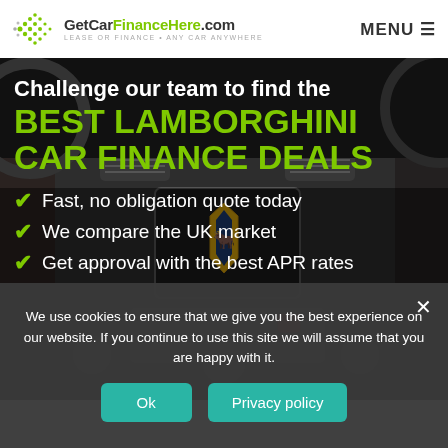GetCarFinanceHere.com LEASE OR FINANCE · ANY CAR ANYWHERE | MENU
[Figure (photo): Dark Lamborghini car interior dashboard with infotainment screen showing Lamborghini logo, gear selectors and controls, forming the hero background image]
Challenge our team to find the
BEST LAMBORGHINI CAR FINANCE DEALS
Fast, no obligation quote today
We compare the UK market
Get approval with the best APR rates
We use cookies to ensure that we give you the best experience on our website. If you continue to use this site we will assume that you are happy with it.
Ok | Privacy policy